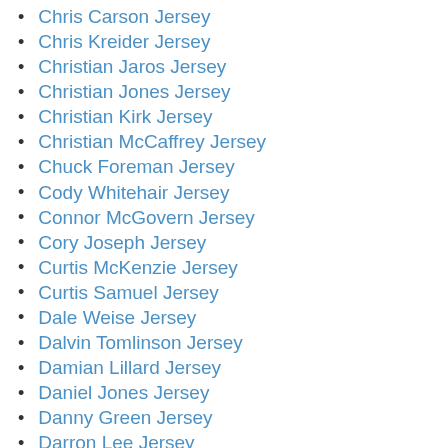Chris Carson Jersey
Chris Kreider Jersey
Christian Jaros Jersey
Christian Jones Jersey
Christian Kirk Jersey
Christian McCaffrey Jersey
Chuck Foreman Jersey
Cody Whitehair Jersey
Connor McGovern Jersey
Cory Joseph Jersey
Curtis McKenzie Jersey
Curtis Samuel Jersey
Dale Weise Jersey
Dalvin Tomlinson Jersey
Damian Lillard Jersey
Daniel Jones Jersey
Danny Green Jersey
Darron Lee Jersey
Daryl Williams Jersey
Dave Casper Jersey